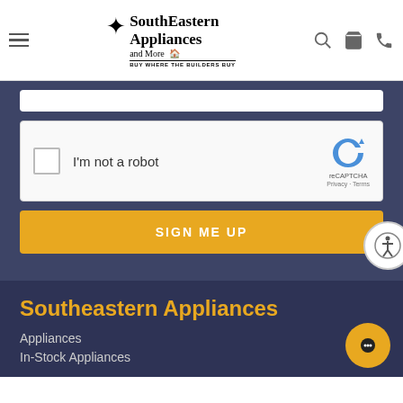SouthEastern Appliances and More — BUY WHERE THE BUILDERS BUY
[Figure (screenshot): reCAPTCHA widget with checkbox labeled I'm not a robot]
SIGN ME UP
Southeastern Appliances
Appliances
In-Stock Appliances